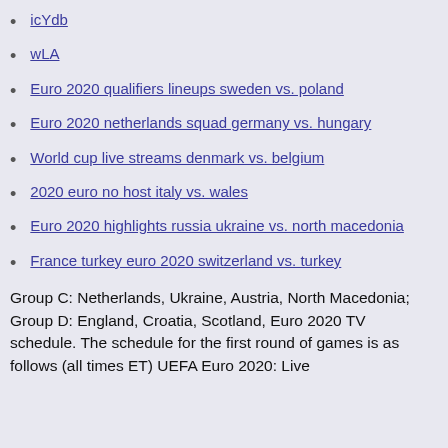icYdb
wLA
Euro 2020 qualifiers lineups sweden vs. poland
Euro 2020 netherlands squad germany vs. hungary
World cup live streams denmark vs. belgium
2020 euro no host italy vs. wales
Euro 2020 highlights russia ukraine vs. north macedonia
France turkey euro 2020 switzerland vs. turkey
Group C: Netherlands, Ukraine, Austria, North Macedonia; Group D: England, Croatia, Scotland, Euro 2020 TV schedule. The schedule for the first round of games is as follows (all times ET) UEFA Euro 2020: Live